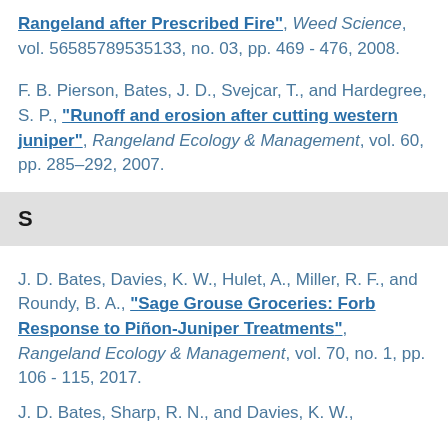Rangeland after Prescribed Fire", Weed Science, vol. 56585789535133, no. 03, pp. 469 - 476, 2008.
F. B. Pierson, Bates, J. D., Svejcar, T., and Hardegree, S. P., "Runoff and erosion after cutting western juniper", Rangeland Ecology & Management, vol. 60, pp. 285–292, 2007.
S
J. D. Bates, Davies, K. W., Hulet, A., Miller, R. F., and Roundy, B. A., "Sage Grouse Groceries: Forb Response to Piñon-Juniper Treatments", Rangeland Ecology & Management, vol. 70, no. 1, pp. 106 - 115, 2017.
J. D. Bates, Sharp, R. N., and Davies, K. W.